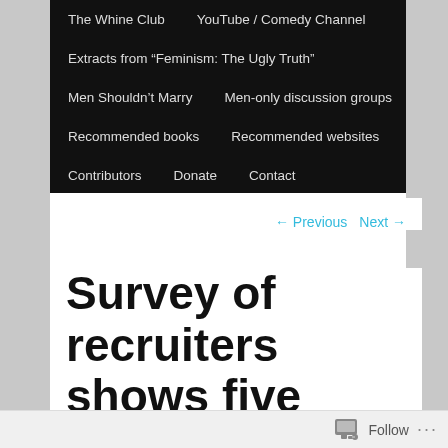The Whine Club    YouTube / Comedy Channel
Extracts from “Feminism: The Ugly Truth”
Men Shouldn’t Marry    Men-only discussion groups
Recommended books    Recommended websites
Contributors    Donate    Contact
← Previous    Next →
Survey of recruiters shows five times more men than women are